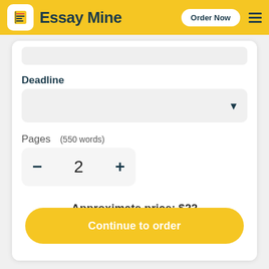Essay Mine  Order Now
Deadline
[Figure (screenshot): Dropdown select box for deadline selection with down arrow]
Pages   (550 words)
[Figure (infographic): Page count stepper control showing minus button, 2, plus button]
Approximate price: $22
Continue to order